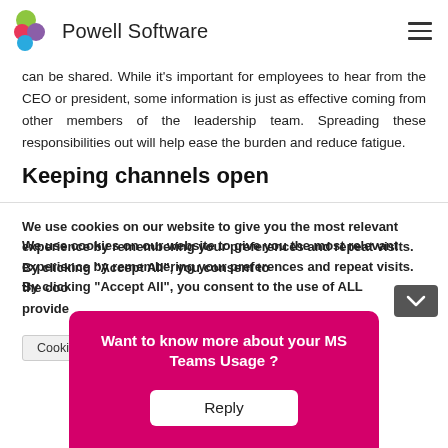Powell Software
can be shared. While it's important for employees to hear from the CEO or president, some information is just as effective coming from other members of the leadership team. Spreading these responsibilities out will help ease the burden and reduce fatigue.
Keeping channels open
We use cookies on our website to give you the most relevant experience by remembering your preferences and repeat visits. By clicking "Accept All", you consent to the use of ALL the cookies. However, you may visit to provide a controlled consent.
Cookie
[Figure (screenshot): Pink popup overlay with text 'Want to know more about your MS Teams Usage?' and a white 'Reply' button]